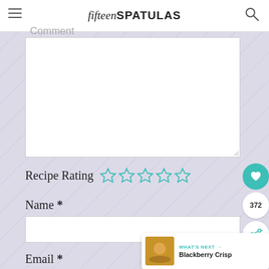fifteen SPATULAS
Comment
[Figure (screenshot): Comment textarea input box, white background with resize handle]
Recipe Rating ☆☆☆☆☆
Name *
[Figure (screenshot): Name text input field, white background]
Email *